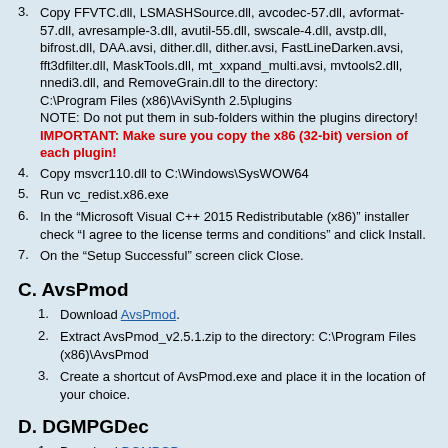3. Copy FFVTC.dll, LSMASHSource.dll, avcodec-57.dll, avformat-57.dll, avresample-3.dll, avutil-55.dll, swscale-4.dll, avstp.dll, bifrost.dll, DAA.avsi, dither.dll, dither.avsi, FastLineDarken.avsi, fft3dfilter.dll, MaskTools.dll, mt_xxpand_multi.avsi, mvtools2.dll, nnedi3.dll, and RemoveGrain.dll to the directory: C:\Program Files (x86)\AviSynth 2.5\plugins
NOTE: Do not put them in sub-folders within the plugins directory!
IMPORTANT: Make sure you copy the x86 (32-bit) version of each plugin!
4. Copy msvcr110.dll to C:\Windows\SysWOW64
5. Run vc_redist.x86.exe
6. In the “Microsoft Visual C++ 2015 Redistributable (x86)” installer check “I agree to the license terms and conditions” and click Install.
7. On the “Setup Successful” screen click Close.
C. AvsPmod
1. Download AvsPmod.
2. Extract AvsPmod_v2.5.1.zip to the directory: C:\Program Files (x86)\AvsPmod
3. Create a shortcut of AvsPmod.exe and place it in the location of your choice.
D. DGMPGDec
1. Download DGMPGDec.
2. Extract to...